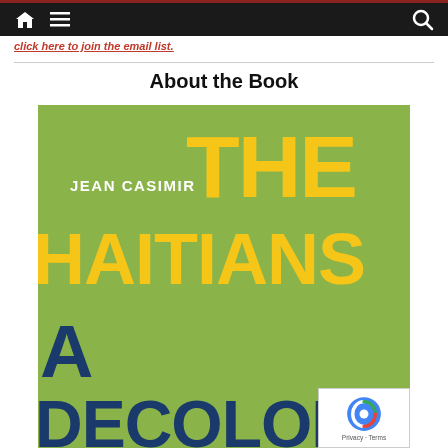Navigation bar with home, menu, and search icons
click here to join the email list.
About the Book
[Figure (photo): Book cover of 'The Haitians: A Decolonial History' by Jean Casimir. Green background with large yellow text reading 'THE HAITIANS' and dark blue text reading 'A DECOLONIAL' at the bottom. Author name 'JEAN CASIMIR' in white at the top left.]